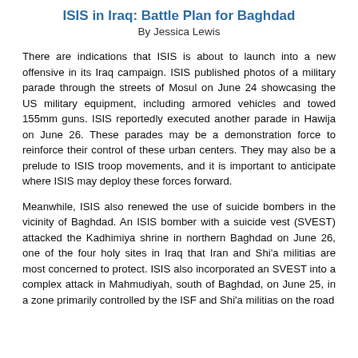ISIS in Iraq: Battle Plan for Baghdad
By Jessica Lewis
There are indications that ISIS is about to launch into a new offensive in its Iraq campaign. ISIS published photos of a military parade through the streets of Mosul on June 24 showcasing the US military equipment, including armored vehicles and towed 155mm guns. ISIS reportedly executed another parade in Hawija on June 26. These parades may be a demonstration force to reinforce their control of these urban centers. They may also be a prelude to ISIS troop movements, and it is important to anticipate where ISIS may deploy these forces forward.
Meanwhile, ISIS also renewed the use of suicide bombers in the vicinity of Baghdad. An ISIS bomber with a suicide vest (SVEST) attacked the Kadhimiya shrine in northern Baghdad on June 26, one of the four holy sites in Iraq that Iran and Shi'a militias are most concerned to protect. ISIS also incorporated an SVEST into a complex attack in Mahmudiyah, south of Baghdad, on June 25, in a zone primarily controlled by the ISF and Shi'a militias on the road